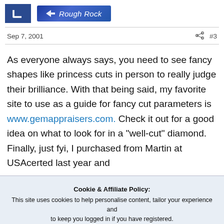[Figure (logo): Blue square icon with white bracket/L shape, followed by a blue gradient banner with arrow icon reading 'Rough Rock' in italic white text]
Sep 7, 2001   #3
As everyone always says, you need to see fancy shapes like princess cuts in person to really judge their brilliance. With that being said, my favorite site to use as a guide for fancy cut parameters is www.gemappraisers.com. Check it out for a good idea on what to look for in a "well-cut" diamond. Finally, just fyi, I purchased from Martin at USAcerted last year and
Cookie & Affiliate Policy:
This site uses cookies to help personalise content, tailor your experience and to keep you logged in if you have registered.
We may generate affiliate revenue through the links/ads on this site.
We NEVER accept paid reviews and take great pride in providing honest opinions and objective information on products & services.
By continuing to use this site, you are consenting to our use of cookie policy.
Accept   Learn more...